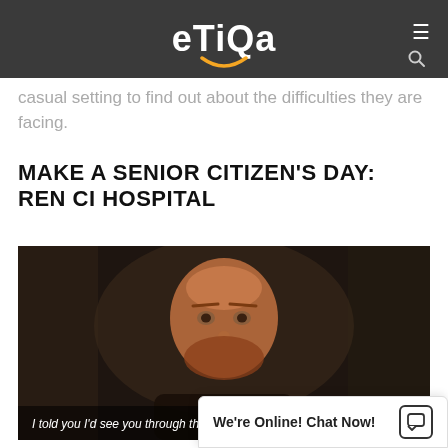eTiQa
casual setting to find out about the difficulties they are facing.
MAKE A SENIOR CITIZEN'S DAY: REN CI HOSPITAL
[Figure (photo): A bearded man with a serious expression in a dark setting, with subtitle text 'I told you I'd see you through this.' and STARZ logo in the lower right.]
Make a differen... simply by show...